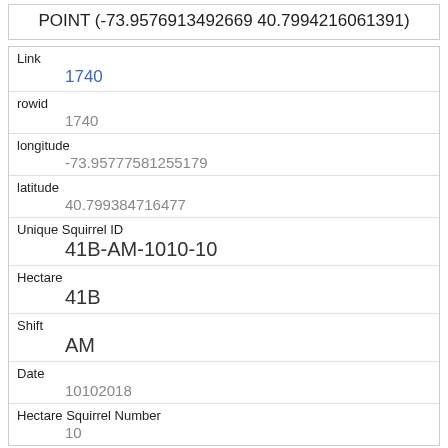POINT (-73.9576913492669 40.7994216061391)
| Field | Value |
| --- | --- |
| Link | 1740 |
| rowid | 1740 |
| longitude | -73.95777581255179 |
| latitude | 40.799384716477 |
| Unique Squirrel ID | 41B-AM-1010-10 |
| Hectare | 41B |
| Shift | AM |
| Date | 10102018 |
| Hectare Squirrel Number | 10 |